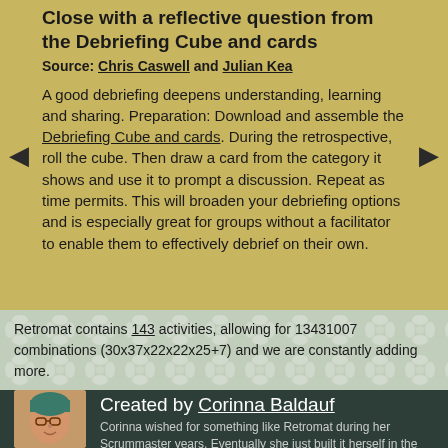Close with a reflective question from the Debriefing Cube and cards
Source: Chris Caswell and Julian Kea
A good debriefing deepens understanding, learning and sharing. Preparation: Download and assemble the Debriefing Cube and cards. During the retrospective, roll the cube. Then draw a card from the category it shows and use it to prompt a discussion. Repeat as time permits. This will broaden your debriefing options and is especially great for groups without a facilitator to enable them to effectively debrief on their own.
Retromat contains 143 activities, allowing for 13431007 combinations (30x37x22x22x25+7) and we are constantly adding more.
Created by Corinna Baldauf
Corinna wished for something like Retromat during her Scrummaster years. Eventually she just built it herself in the hope that it would be useful to others, too. Any